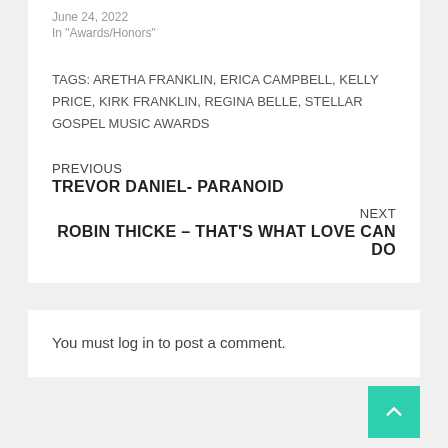June 24, 2022
In "Awards/Honors"
TAGS: ARETHA FRANKLIN, ERICA CAMPBELL, KELLY PRICE, KIRK FRANKLIN, REGINA BELLE, STELLAR GOSPEL MUSIC AWARDS
PREVIOUS
TREVOR DANIEL- PARANOID
NEXT
ROBIN THICKE – THAT'S WHAT LOVE CAN DO
You must log in to post a comment.